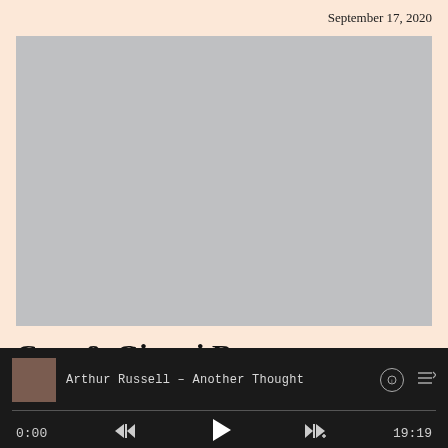September 17, 2020
[Figure (photo): Gray rectangular placeholder for album artwork]
Cass & Gianni Brezzo –
[Figure (screenshot): Music player bottom bar showing track: Arthur Russell – Another Thought, time 0:00, duration 19:19, with playback controls]